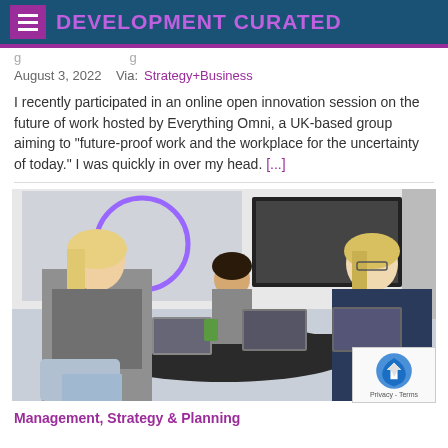DEVELOPMENT CURATED
August 3, 2022   Via: Strategy+Business
I recently participated in an online open innovation session on the future of work hosted by Everything Omni, a UK-based group aiming to “future-proof work and the workplace for the uncertainty of today.” I was quickly in over my head. [...]
[Figure (photo): Three women sitting around a dark round table working on laptops in a modern office or meeting space, with a large screen in the background and colorful artwork on the wall.]
Management, Strategy & Planning